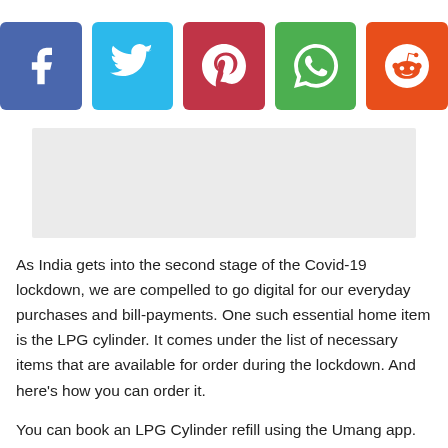[Figure (other): Row of five social media share buttons: Facebook (blue-purple), Twitter (light blue), Pinterest (dark red), WhatsApp (green), Reddit (orange-red)]
[Figure (other): Advertisement placeholder box with light grey background]
As India gets into the second stage of the Covid-19 lockdown, we are compelled to go digital for our everyday purchases and bill-payments. One such essential home item is the LPG cylinder. It comes under the list of necessary items that are available for order during the lockdown. And here's how you can order it.
You can book an LPG Cylinder refill using the Umang app. For the uninitiated, Umang is an app launched by the Government